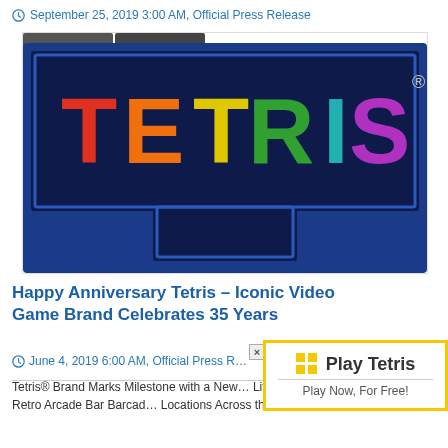September 25, 2019 3:00 AM, Official Press Release
[Figure (logo): Tetris logo on dark blue T-shaped background with 'news' and 'press' tabs at top left. Colorful TETRIS lettering in red, orange, yellow, green, teal, and purple on dark navy background.]
Happy Anniversary Tetris – Iconic Video Game Brand Celebrates 35 Years
June 4, 2019 6:00 AM, Official Press R…
Tetris® Brand Marks Milestone with a New… Lifestyle Products; Retro Arcade Bar Barcad… Locations Across the U.S. in June
[Figure (infographic): Play Tetris promotional box with yellow border. Shows Windows-style grid icon, 'Play Tetris' heading in bold, and 'Play Now, For Free!' subtext. Close button (×) on left edge.]